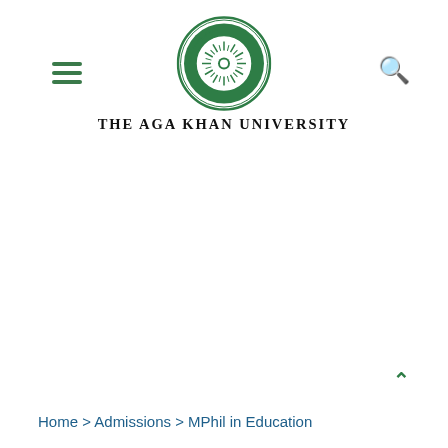THE AGA KHAN UNIVERSITY
[Figure (logo): Aga Khan University circular green emblem/seal with Arabic calligraphy and starburst center]
THE AGA KHAN UNIVERSITY
Home > Admissions > MPhil in Education